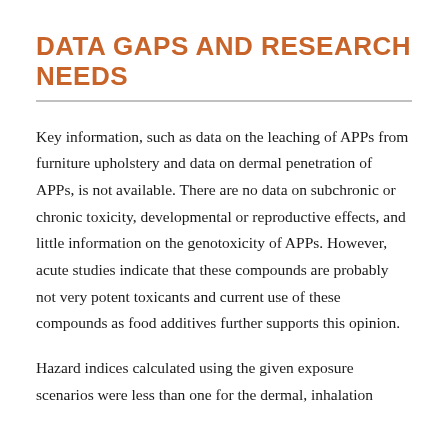DATA GAPS AND RESEARCH NEEDS
Key information, such as data on the leaching of APPs from furniture upholstery and data on dermal penetration of APPs, is not available. There are no data on subchronic or chronic toxicity, developmental or reproductive effects, and little information on the genotoxicity of APPs. However, acute studies indicate that these compounds are probably not very potent toxicants and current use of these compounds as food additives further supports this opinion.
Hazard indices calculated using the given exposure scenarios were less than one for the dermal, inhalation